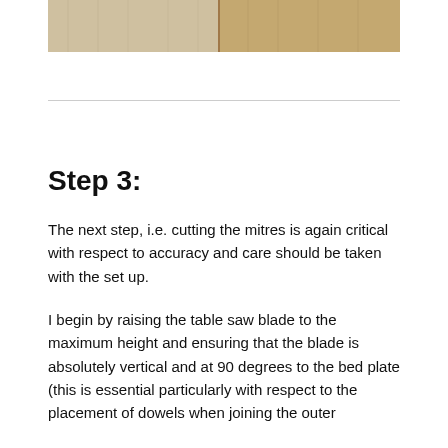[Figure (photo): Partial view of wooden planks/boards showing wood grain texture, two pieces visible side by side]
Step 3:
The next step, i.e. cutting the mitres is again critical with respect to accuracy and care should be taken with the set up.
I begin by raising the table saw blade to the maximum height and ensuring that the blade is absolutely vertical and at 90 degrees to the bed plate (this is essential particularly with respect to the placement of dowels when joining the outer